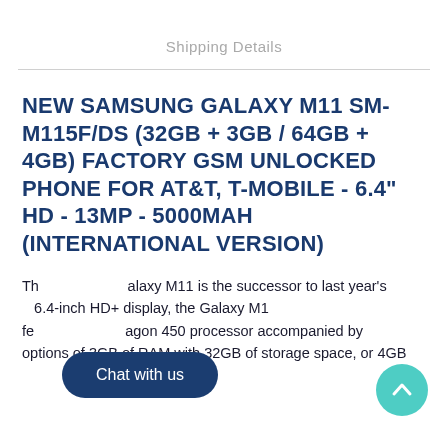Shipping Details
NEW SAMSUNG GALAXY M11 SM-M115F/DS (32GB + 3GB / 64GB + 4GB) FACTORY GSM UNLOCKED PHONE FOR AT&T, T-MOBILE - 6.4" HD - 13MP - 5000MAH (INTERNATIONAL VERSION)
The Samsung Galaxy M11 is the successor to last year's 6.4-inch HD+ display, the Galaxy M1... features Snapdragon 450 processor accompanied by options of 3GB of RAM with 32GB of storage space, or 4GB